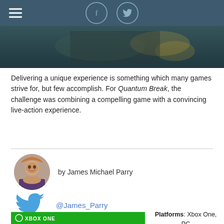hamburger menu, Facebook icon, Twitter icon
[Figure (photo): Banner image showing a dark cinematic scene with figures, teal/dark tones]
Delivering a unique experience is something which many games strive for, but few accomplish. For Quantum Break, the challenge was combining a compelling game with a convincing live-action experience.
[Figure (photo): Headshot of James Michael Parry, male, reddish-brown hair, purple shirt]
by James Michael Parry
[Figure (logo): Twitter bird logo in blue]
@James_Parry
[Figure (photo): Quantum Break Xbox One game cover box art, green Xbox One branding, QUANTUM BREAK text]
Platforms: Xbox One, PC
Developer: Remedy Entertainment